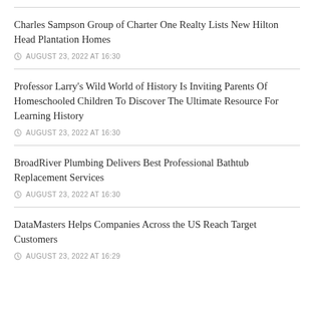Charles Sampson Group of Charter One Realty Lists New Hilton Head Plantation Homes
AUGUST 23, 2022 AT 16:30
Professor Larry's Wild World of History Is Inviting Parents Of Homeschooled Children To Discover The Ultimate Resource For Learning History
AUGUST 23, 2022 AT 16:30
BroadRiver Plumbing Delivers Best Professional Bathtub Replacement Services
AUGUST 23, 2022 AT 16:30
DataMasters Helps Companies Across the US Reach Target Customers
AUGUST 23, 2022 AT 16:29